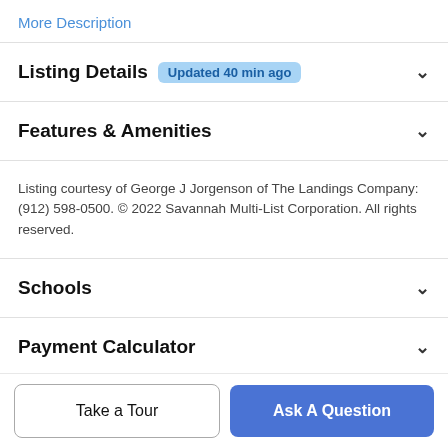More Description
Listing Details  Updated 40 min ago
Features & Amenities
Listing courtesy of George J Jorgenson of The Landings Company: (912) 598-0500. © 2022 Savannah Multi-List Corporation. All rights reserved.
Schools
Payment Calculator
Contact Agent
Take a Tour
Ask A Question